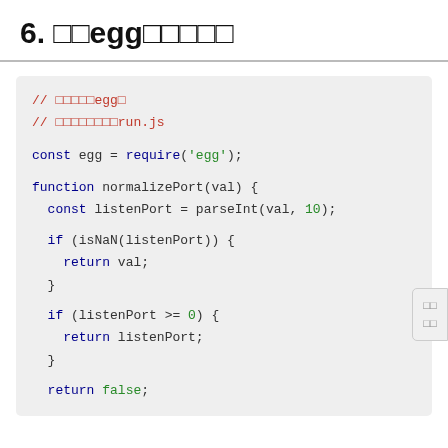6. egg
[Figure (screenshot): Code block showing JavaScript code using the egg module, with normalizePort function definition]
[Figure (other): Sidebar widget with two small icons/labels]